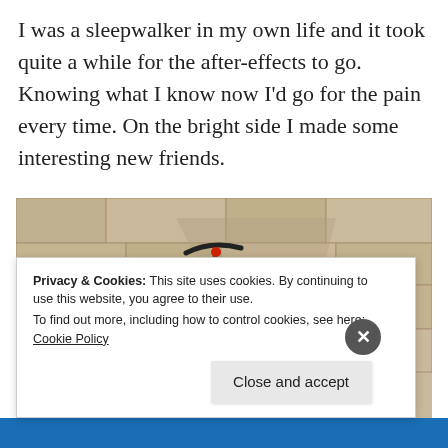I was a sleepwalker in my own life and it took quite a while for the after-effects to go. Knowing what I know now I'd go for the pain every time. On the bright side I made some interesting new friends.
[Figure (photo): A titanium/dark road bicycle leaning against a rough stone wall, with blue handlebar tape, a red and white water bottle, and red accent tires. Sunlight casts shadows on the wall.]
Privacy & Cookies: This site uses cookies. By continuing to use this website, you agree to their use.
To find out more, including how to control cookies, see here: Cookie Policy